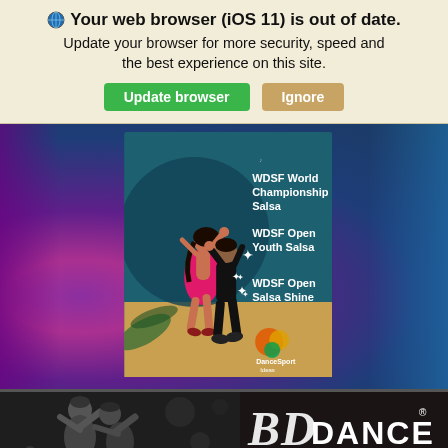Your web browser (iOS 11) is out of date. Update your browser for more security, speed and the best experience on this site.
Update browser | Ignore
[Figure (illustration): WDSF World Championship Salsa event poster showing two dancers (woman in pink dress, man in black) on a teal/blue background with text: WDSF World Championship Salsa, WDSF Open Youth Salsa, WDSF Open Salsa Shine]
[Figure (photo): BD Dance advertisement banner showing black and white photo of a dancing couple with BD Dance logo and tagline: CHOICE OF CHAMPIONS]